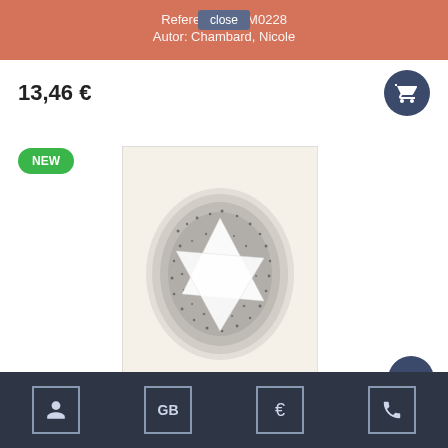Referencia: LEM0228
Autor: Chambard, Nicole
close
13,46 €
NEW
[Figure (illustration): Book cover with pointillist-style artwork showing two interlocking white triangles/geometric shapes on a dark dotted oval background]
Footer navigation icons: user, GB, €, phone